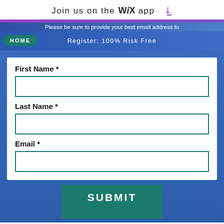Join us on the WiX app ↓
Please be sure to provide your best email address to
HOME    Register: 100% Risk Free
First Name *
Last Name *
Email *
SUBMIT
Get Your Free eBook